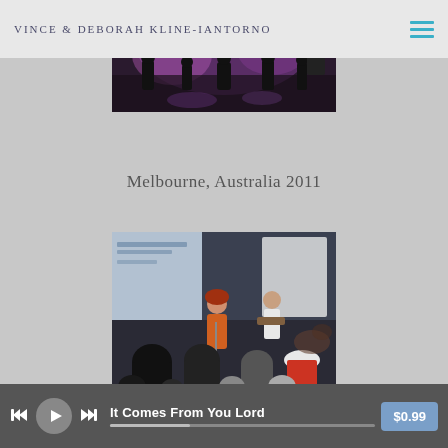VINCE & DEBORAH KLINE-IANTORNO
[Figure (photo): Concert/worship performance photo with purple stage lighting, musicians on stage with silhouettes of audience]
Melbourne, Australia 2011
[Figure (photo): Indoor worship event with a female singer in orange dress performing on stage, guitarist beside her, audience seated with backs to camera, projection screen visible]
It Comes From You Lord  $0.99